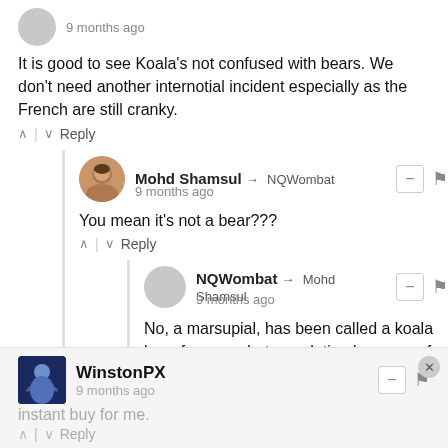9 months ago
It is good to see Koala's not confused with bears. We don't need another internotial incident especially as the French are still cranky.
^ | v  Reply
Mohd Shamsul → NQWombat
9 months ago
You mean it's not a bear???
^ | v  Reply
NQWombat → Mohd Shamsul
9 months ago
No, a marsupial, has been called a koala bear for years but no relation because of the pouch.Smell like eucalyptus and sleeps a lot.
^ | v  Reply
WinstonPX
9 months ago
instant buy for me.